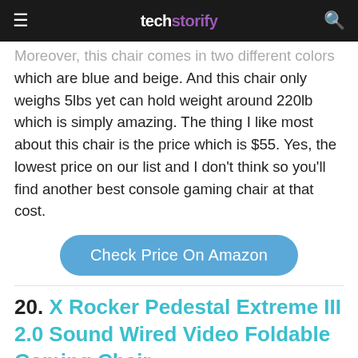techstorify
Moreover, this chair comes in two different colors which are blue and beige. And this chair only weighs 5lbs yet can hold weight around 220lb which is simply amazing. The thing I like most about this chair is the price which is $55. Yes, the lowest price on our list and I don't think so you'll find another best console gaming chair at that cost.
[Figure (other): Check Price On Amazon button (rounded blue button)]
20. X Rocker Pedestal Extreme III 2.0 Sound Wired Video Foldable Gaming Chair